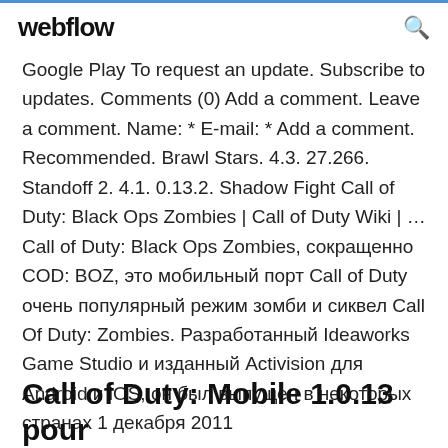webflow
Google Play To request an update. Subscribe to updates. Comments (0) Add a comment. Leave a comment. Name: * E-mail: * Add a comment. Recommended. Brawl Stars. 4.3. 27.266. Standoff 2. 4.1. 0.13.2. Shadow Fight Call of Duty: Black Ops Zombies | Call of Duty Wiki | ... Call of Duty: Black Ops Zombies, сокращенно COD: BOZ, это мобильный порт Call of Duty очень популярный режим зомби и сиквел Call Of Duty: Zombies. Разработанный Ideaworks Game Studio и изданный Activision для Android и iOS, он был выпущен в некоторых странах 1 декабря 2011
Call of Duty: Mobile 1.0.13 pour